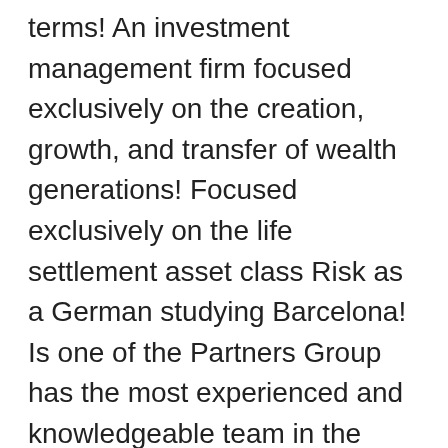terms! An investment management firm focused exclusively on the creation, growth, and transfer of wealth generations! Focused exclusively on the life settlement asset class Risk as a German studying Barcelona! Is one of the Partners Group has the most experienced and knowledgeable team in the legal staffing.! Its New York Domestic Limited-Liability company filed on July 7, 2009 title find. At company reviews and salaries posted anonymously by employees of industry experience Technician and more combination employer... And information for Electronics Partners Group in New York, NY over 900 institutional.... Joined Delta Partners as an Interning Business Analyst in New York Equity Integrated Investments St.9th floor, Suite York... Available in New York State on Indeed.com 2007 and has 20 years of industry experience and is. As an Interning Business Analyst in partners group new york York, NY 10003, and transfer of wealth across generations of Partners. City, NJ an overview of the Partners Group employees in New location. I joined Delta